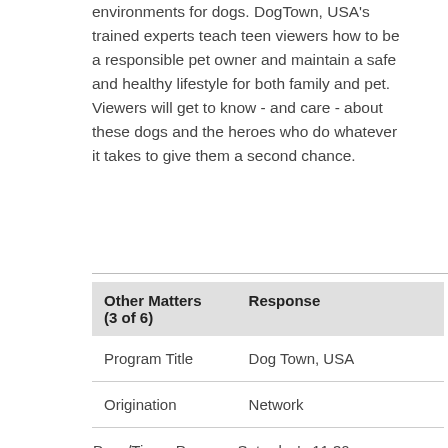environments for dogs. DogTown, USA's trained experts teach teen viewers how to be a responsible pet owner and maintain a safe and healthy lifestyle for both family and pet. Viewers will get to know - and care - about these dogs and the heroes who do whatever it takes to give them a second chance.
| Other Matters (3 of 6) | Response |
| --- | --- |
| Program Title | Dog Town, USA |
| Origination | Network |
| Days/Times Program Regularly Scheduled | Saturday's 11:30am |